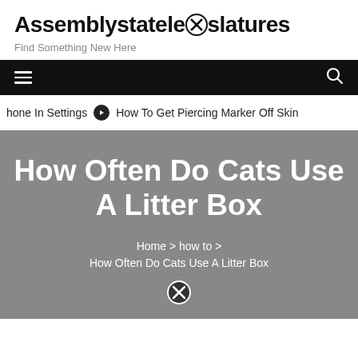Assemblystatelegislatures
Find Something New Here
[Figure (other): Navigation bar with hamburger menu icon on the left and search icon on the right, black background]
hone In Settings   ➤  How To Get Piercing Marker Off Skin
How Often Do Cats Use A Litter Box
Home > how to > How Often Do Cats Use A Litter Box